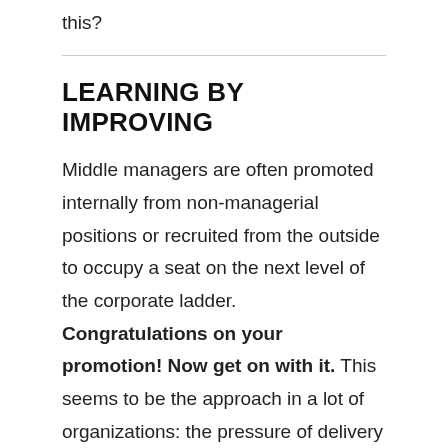this?
LEARNING BY IMPROVING
Middle managers are often promoted internally from non-managerial positions or recruited from the outside to occupy a seat on the next level of the corporate ladder. Congratulations on your promotion! Now get on with it. This seems to be the approach in a lot of organizations: the pressure of delivery means little to no real training and it's sink or swim. To succeed with kaizen and lean at each level of the organization, all employees must be given the opportunity to grow and learn what is necessary